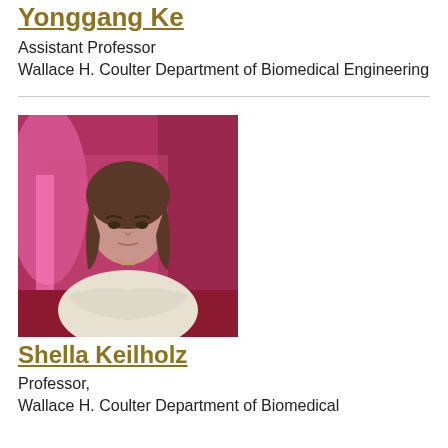Yonggang Ke
Assistant Professor
Wallace H. Coulter Department of Biomedical Engineering
[Figure (photo): Portrait photo of Shella Keilholz, a woman with brown hair and bangs, wearing a light cream top with arms crossed, seated in front of a colorful pink/red background]
Shella Keilholz
Professor,
Wallace H. Coulter Department of Biomedical